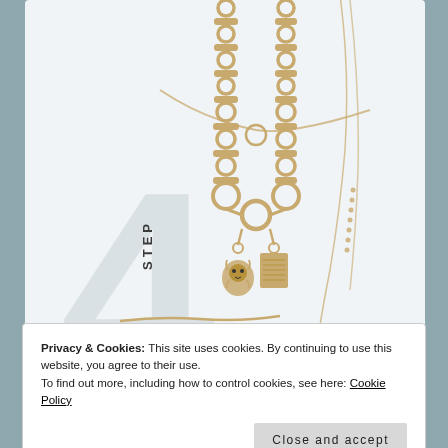[Figure (photo): Gold chain-link necklaces layered, displayed on a grayish-blue background, with a large watermark number '4' and the word 'STEP' written vertically. Multiple necklace styles including link chains, snake chains, and charm pendants (lion head and rectangular charm).]
Privacy & Cookies: This site uses cookies. By continuing to use this website, you agree to their use.
To find out more, including how to control cookies, see here: Cookie Policy
Close and accept